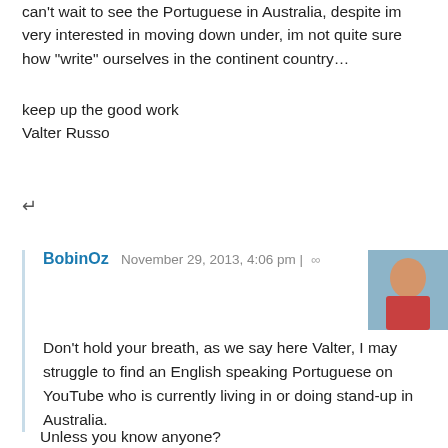can't wait to see the Portuguese in Australia, despite im very interested in moving down under, im not quite sure how "write" ourselves in the continent country…
keep up the good work
Valter Russo
↵
BobinOz  November 29, 2013, 4:06 pm | ∞
Don't hold your breath, as we say here Valter, I may struggle to find an English speaking Portuguese on YouTube who is currently living in or doing stand-up in Australia.
Unless you know anyone?